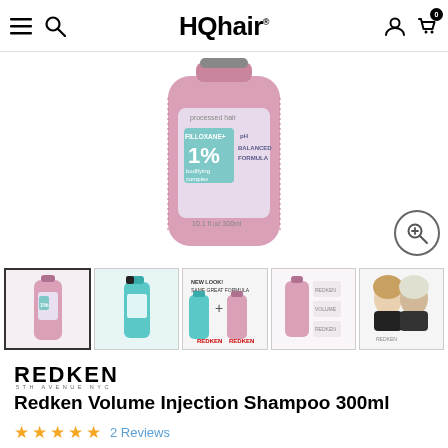HQhair
[Figure (photo): Pink Redken Volume Injection Shampoo 300ml bottle, showing FILLOXANE+ 1% bodifying complex label, pH Balanced Formula, product for processed hair]
[Figure (photo): Thumbnail 1: Pink Redken Volume Injection Shampoo bottle]
[Figure (photo): Thumbnail 2: Teal/green Redken shampoo bottle]
[Figure (photo): Thumbnail 3: New Look Same Great Formula - old teal bottle and new pink bottle side by side with Redken logo]
[Figure (photo): Thumbnail 4: Pink bottle with Redken product info cards]
[Figure (photo): Thumbnail 5: Two women with voluminous hair]
[Figure (logo): REDKEN 5TH AVENUE NYC logo]
Redken Volume Injection Shampoo 300ml
★★★★★ 2 Reviews